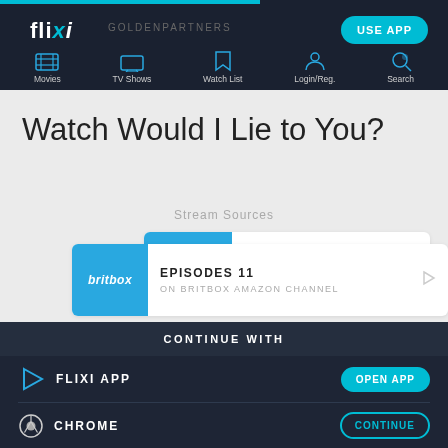flixi — GOLDENPARTNERS — USE APP
[Figure (screenshot): Navigation bar with icons for Movies, TV Shows, Watch List, Login/Reg., Search]
Watch Would I Lie to You?
Stream Sources
[Figure (infographic): Britbox streaming card: EPISODES 11, ON BRITBOX, with play button]
[Figure (infographic): Britbox Amazon Channel card: EPISODES 11, ON BRITBOX AMAZON CHANNEL, with play button]
CONTINUE WITH
FLIXI APP
CHROME